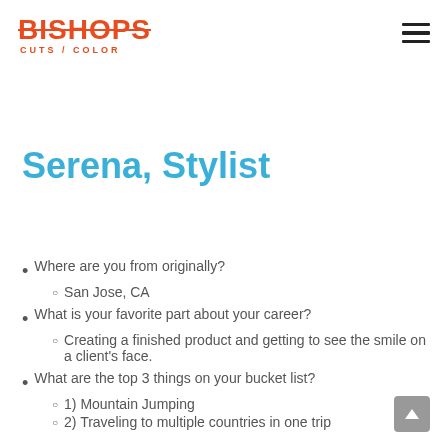BISHOPS CUTS / COLOR
Serena, Stylist
Where are you from originally?
San Jose, CA
What is your favorite part about your career?
Creating a finished product and getting to see the smile on a client's face.
What are the top 3 things on your bucket list?
1) Mountain Jumping
2) Traveling to multiple countries in one trip